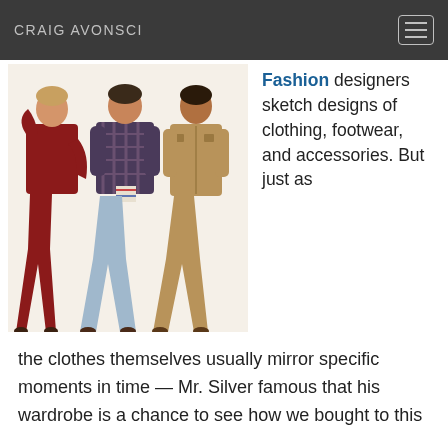CRAIG AVONSCI
[Figure (illustration): Vintage 1970s fashion illustration showing three men wearing bell-bottom pants and patterned jackets in red, plaid, and tan colors.]
Fashion designers sketch designs of clothing, footwear, and accessories. But just as the clothes themselves usually mirror specific moments in time — Mr. Silver famous that his wardrobe is a chance to see how we bought to this